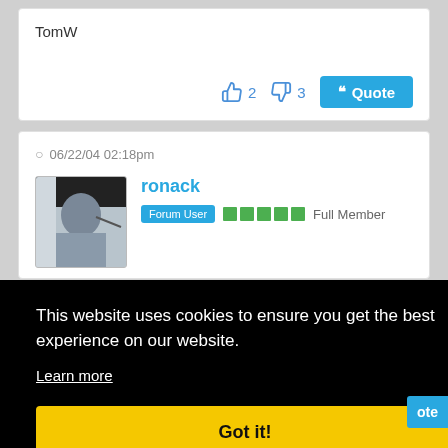TomW
👍 2   👎 3   ❝ Quote
○ 06/22/04 02:18pm
ronack
Forum User  ■■■■■  Full Member
This website uses cookies to ensure you get the best experience on our website.
Learn more
Got it!